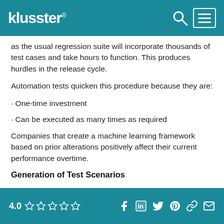klusster®
as the usual regression suite will incorporate thousands of test cases and take hours to function. This produces hurdles in the release cycle.
Automation tests quicken this procedure because they are:
· One-time investment
· Can be executed as many times as required
Companies that create a machine learning framework based on prior alterations positively affect their current performance overtime.
Generation of Test Scenarios
4.0 ☆☆☆☆☆